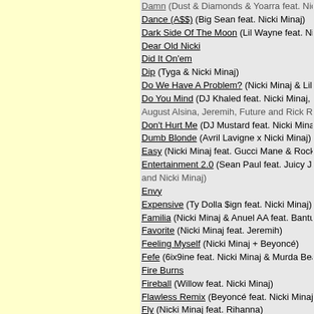Damn (Dust & Diamonds & Yoarra feat. Nicki Mi...)
Dance (A$$) (Big Sean feat. Nicki Minaj)
Dark Side Of The Moon (Lil Wayne feat. Nicki Min...)
Dear Old Nicki
Did It On'em
Dip (Tyga & Nicki Minaj)
Do We Have A Problem? (Nicki Minaj & Lil Baby)
Do You Mind (DJ Khaled feat. Nicki Minaj, Chris B... August Alsina, Jeremih, Future and Rick Ross)
Don't Hurt Me (DJ Mustard feat. Nicki Minaj & Jer...)
Dumb Blonde (Avril Lavigne x Nicki Minaj)
Easy (Nicki Minaj feat. Gucci Mane & Rocko)
Entertainment 2.0 (Sean Paul feat. Juicy J, 2 Cha... and Nicki Minaj)
Envy
Expensive (Ty Dolla $ign feat. Nicki Minaj)
Familia (Nicki Minaj & Anuel AA feat. Bantu)
Favorite (Nicki Minaj feat. Jeremih)
Feeling Myself (Nicki Minaj + Beyoncé)
Fefe (6ix9ine feat. Nicki Minaj & Murda Beatz)
Fire Burns
Fireball (Willow feat. Nicki Minaj)
Flawless Remix (Beyoncé feat. Nicki Minaj)
Fly (Nicki Minaj feat. Rihanna)
For The Love Of New York (Polo G & Nicki Minaj)
Four Door Aventador
Fractions
Freaks (French Montana feat. Nicki Minaj)
Freedom
Froze (Meek Mill feat. Lil Uzi Vert & Nicki Minaj)
Ganja Burn
Get Like Me (Nelly feat. Nicki Minaj & Pharrell)
Get Low (Waka Flocka Flame feat. Nicki Minaj, Ty... Flo Rida)
Get On Your Knees (Nicki Minaj feat. Ariana Gran...)
Get Silly
Girl On Fire (Alicia Keys feat. Nicki Minaj)
Girlfriend